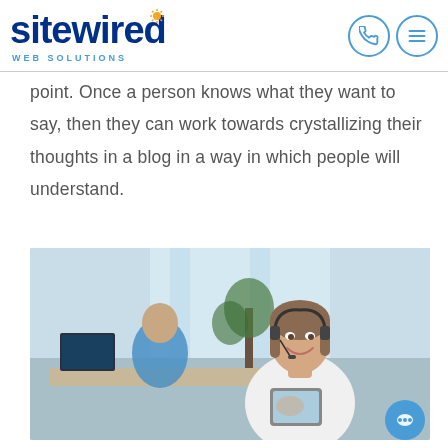sitewired WEB SOLUTIONS
point. Once a person knows what they want to say, then they can work towards crystallizing their thoughts in a blog in a way in which people will understand.
[Figure (photo): A smiling woman wearing a headset and holding a tablet in an office environment, with a man working at a desk in the background.]